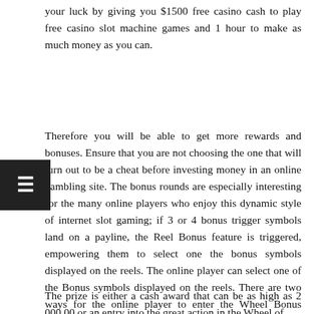your luck by giving you $1500 free casino cash to play free casino slot machine games and 1 hour to make as much money as you can.
Therefore you will be able to get more rewards and bonuses. Ensure that you are not choosing the one that will turn out to be a cheat before investing money in an online gambling site. The bonus rounds are especially interesting for the many online players who enjoy this dynamic style of internet slot gaming; if 3 or 4 bonus trigger symbols land on a payline, the Reel Bonus feature is triggered, empowering them to select one the bonus symbols displayed on the reels. The online player can select one of the Bonus symbols displayed on the reels. There are two ways for the online player to enter the Wheel Bonus Game. There is a Pick X of Y Reel Bonus Feature and a Wheel Bonus.
The prize is either a cash award that can be as high as 2 000,00 or an entry into the great action in the Wheel of